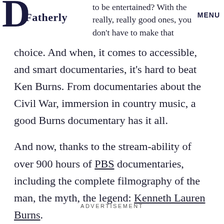Fatherly MENU
to be entertained? With the really, really good ones, you don't have to make that choice. And when, it comes to accessible, and smart documentaries, it's hard to beat Ken Burns. From documentaries about the Civil War, immersion in country music, a good Burns documentary has it all.
And now, thanks to the stream-ability of over 900 hours of PBS documentaries, including the complete filmography of the man, the myth, the legend: Kenneth Lauren Burns.
ADVERTISEMENT